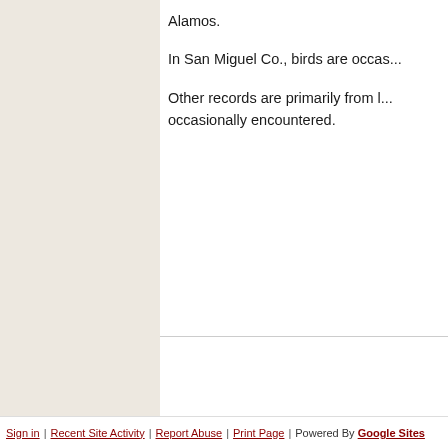Alamos.
In San Miguel Co., birds are ocas...
Other records are primarily from l... occasionally encountered.
Comments
Sign in | Recent Site Activity | Report Abuse | Print Page | Powered By Google Sites